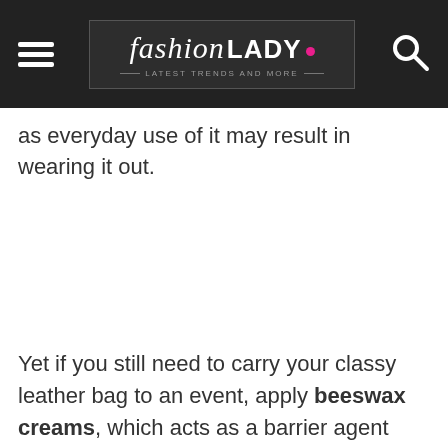fashion LADY — Latest Trends and More —
as everyday use of it may result in wearing it out.
Yet if you still need to carry your classy leather bag to an event, apply beeswax creams, which acts as a barrier agent